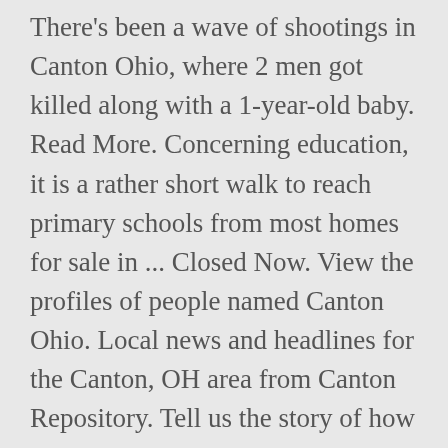There's been a wave of shootings in Canton Ohio, where 2 men got killed along with a 1-year-old baby. Read More. Concerning education, it is a rather short walk to reach primary schools from most homes for sale in ... Closed Now. View the profiles of people named Canton Ohio. Local news and headlines for the Canton, OH area from Canton Repository. Tell us the story of how you met your furry best friend and help other pet lovers discover the joys of pet adoption! secondchance4animals@yahoo.com. A man goes live and confess his crimes. Mon: 8:00am – 4:30pm Finding pets for you... Recommended Pets. Here, we will have a u-pick for the public